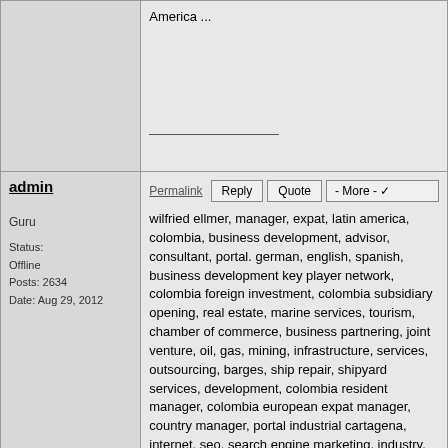America ...
admin
Permalink | Reply | Quote | - More -
Guru
Status: Offline
Posts: 2634
Date: Aug 29, 2012
wilfried ellmer, manager, expat, latin america, colombia, business development, advisor, consultant, portal. german, english, spanish, business development key player network, colombia foreign investment, colombia subsidiary opening, real estate, marine services, tourism, chamber of commerce, business partnering, joint venture, oil, gas, mining, infrastructure, services, outsourcing, barges, ship repair, shipyard services, development, colombia resident manager, colombia european expat manager, country manager, portal industrial cartagena, internet, seo, search engine marketing, industry, logistics integration, management, projects, headhunting, project setup, executive search, your man in colombia, fulltime, parttime, freelance - available for projects now. info@tolimared.com
colombia, bogota, cartagena, santa marta, bolivar, latin america,
admin
Permalink | Reply | Quote | - More -
Guru